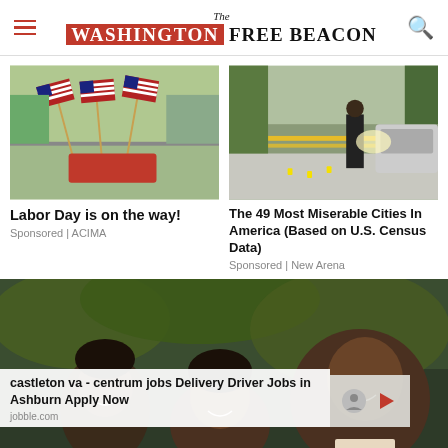The Washington Free Beacon
[Figure (photo): Bundled American flags displayed in a store for sale]
Labor Day is on the way!
Sponsored | ACIMA
[Figure (photo): Crime scene with police tape and officers at a city street]
The 49 Most Miserable Cities In America (Based on U.S. Census Data)
Sponsored | New Arena
[Figure (photo): Group of people smiling outdoors including Barack Obama]
castleton va - centrum jobs Delivery Driver Jobs in Ashburn Apply Now
jobble.com